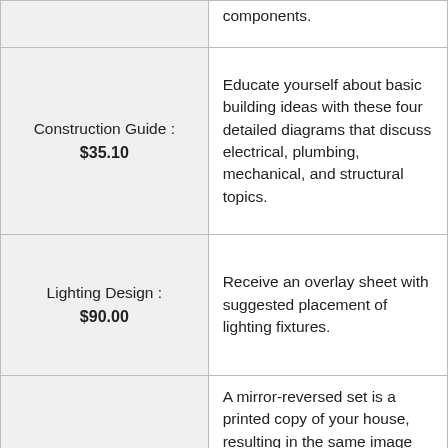| Item | Description |
| --- | --- |
|  | components. |
| Construction Guide :
$35.10 | Educate yourself about basic building ideas with these four detailed diagrams that discuss electrical, plumbing, mechanical, and structural topics. |
| Lighting Design :
$90.00 | Receive an overlay sheet with suggested placement of lighting fixtures. |
|  | A mirror-reversed set is a printed copy of your house, resulting in the same image |